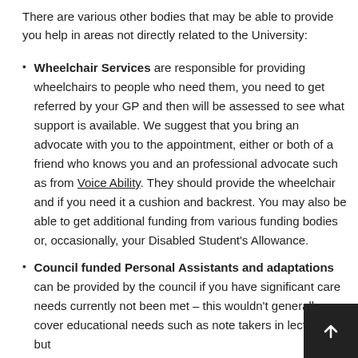There are various other bodies that may be able to provide you help in areas not directly related to the University:
Wheelchair Services are responsible for providing wheelchairs to people who need them, you need to get referred by your GP and then will be assessed to see what support is available. We suggest that you bring an advocate with you to the appointment, either or both of a friend who knows you and an professional advocate such as from Voice Ability. They should provide the wheelchair and if you need it a cushion and backrest. You may also be able to get additional funding from various funding bodies or, occasionally, your Disabled Student's Allowance.
Council funded Personal Assistants and adaptations can be provided by the council if you have significant care needs currently not been met – this wouldn't generally cover educational needs such as note takers in lectures but